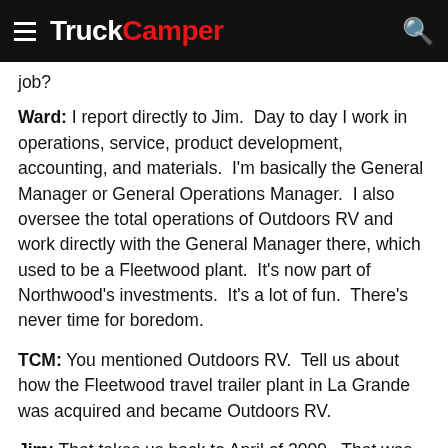TruckCamper
job?
Ward: I report directly to Jim.  Day to day I work in operations, service, product development, accounting, and materials.  I'm basically the General Manager or General Operations Manager.  I also oversee the total operations of Outdoors RV and work directly with the General Manager there, which used to be a Fleetwood plant.  It's now part of Northwood's investments.  It's a lot of fun.  There's never time for boredom.
TCM: You mentioned Outdoors RV.  Tell us about how the Fleetwood travel trailer plant in La Grande was acquired and became Outdoors RV.
Jim: That takes us back to April of 2009.  That was when Ron was talking with me about the opportunity